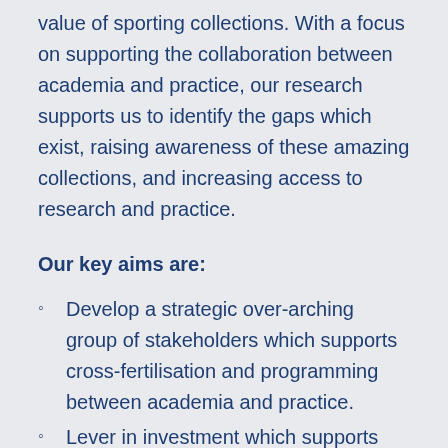value of sporting collections. With a focus on supporting the collaboration between academia and practice, our research supports us to identify the gaps which exist, raising awareness of these amazing collections, and increasing access to research and practice.
Our key aims are:
Develop a strategic over-arching group of stakeholders which supports cross-fertilisation and programming between academia and practice.
Lever in investment which supports ground-breaking research demonstrating the value of